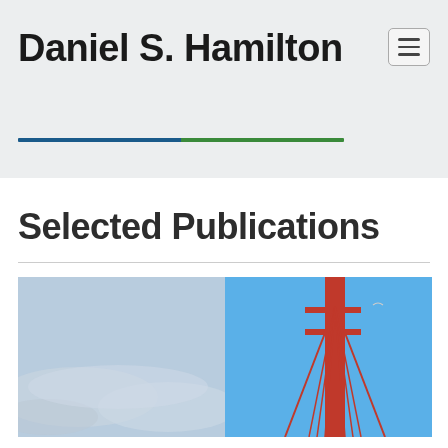Daniel S. Hamilton
Selected Publications
[Figure (photo): Split photo: left side shows a cloudy blue sky, right side shows a red suspension bridge tower against a clear blue sky]